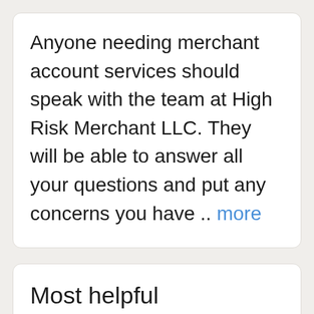Anyone needing merchant account services should speak with the team at High Risk Merchant LLC. They will be able to answer all your questions and put any concerns you have .. more
Most helpful critical review